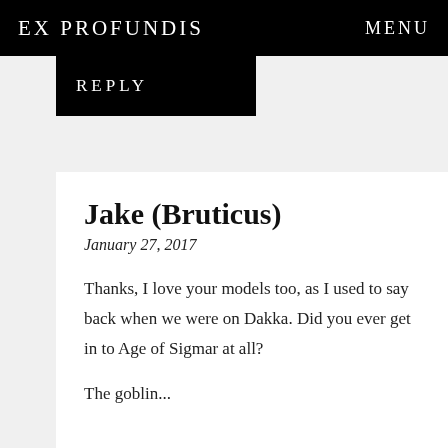EX PROFUNDIS   MENU
REPLY
Jake (Bruticus)
January 27, 2017
Thanks, I love your models too, as I used to say back when we were on Dakka. Did you ever get in to Age of Sigmar at all?
The goblin...